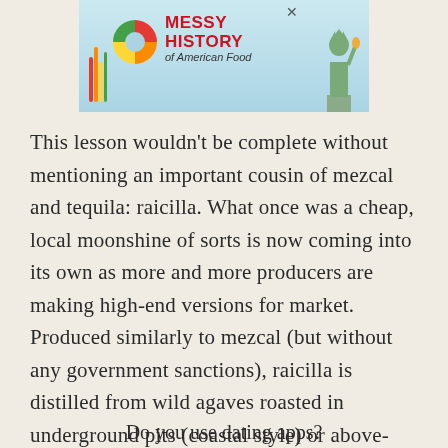[Figure (other): Advertisement banner for 'Messy History of American Food' featuring a rainbow bar chart logo, colorful circle logo, Statue of Liberty graphic, with a close X button]
This lesson wouldn't be complete without mentioning an important cousin of mezcal and tequila: raicilla. What once was a cheap, local moonshine of sorts is now coming into its own as more and more producers are making high-end versions for market. Produced similarly to mezcal (but without any government sanctions), raicilla is distilled from wild agaves roasted in underground pits (coastal style) or above-ground ovens (sierra style). Raicilla's subtle smoky flavor makes it great for sipping or mixing in cocktails.
Do you use dating apps?